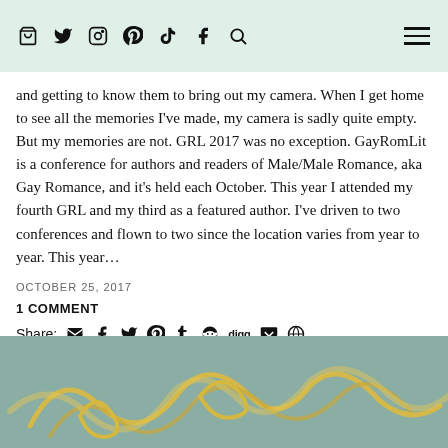icons: bag, twitter, instagram, pinterest, tiktok, facebook, search, menu
and getting to know them to bring out my camera. When I get home to see all the memories I've made, my camera is sadly quite empty. But my memories are not. GRL 2017 was no exception. GayRomLit is a conference for authors and readers of Male/Male Romance, aka Gay Romance, and it's held each October. This year I attended my fourth GRL and my third as a featured author. I've driven to two conferences and flown to two since the location varies from year to year. This year…
OCTOBER 25, 2017
1 COMMENT
Share: [icons: email, facebook, twitter, pinterest, tumblr, reddit, digg, pocket, wordpress]
[Figure (photo): Partial view of a decorative image with yellow cursive/script lines on a teal/sage background, visible at the bottom of the page]